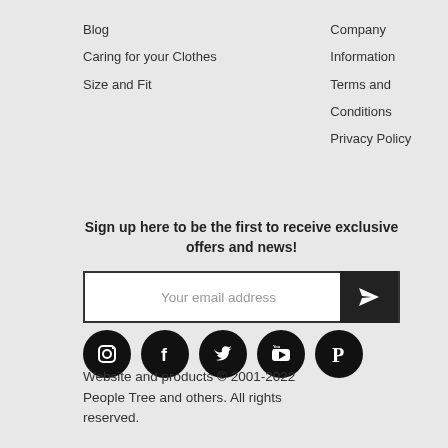Blog
Caring for your Clothes
Size and Fit
Company Information
Terms and Conditions
Privacy Policy
Sign up here to be the first to receive exclusive offers and news!
[Figure (other): Email signup input box with send arrow button]
[Figure (other): Social media icons row: Instagram, Facebook, Twitter, YouTube, Pinterest]
Website and products © 2001-2022 People Tree and others. All rights reserved.